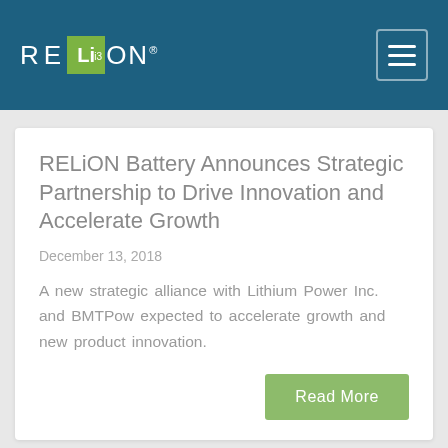RELiON
RELiON Battery Announces Strategic Partnership to Drive Innovation and Accelerate Growth
December 13, 2018
A new strategic alliance with Lithium Power Inc. and BMTPow expected to accelerate growth and new product innovation.
Read More